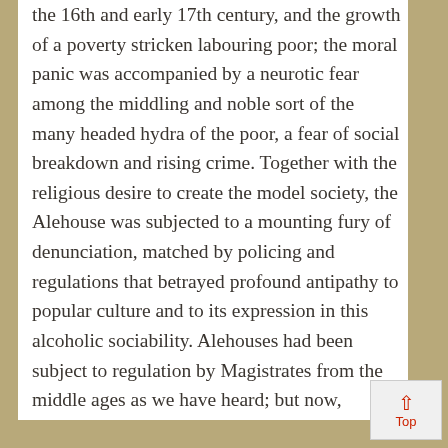the 16th and early 17th century, and the growth of a poverty stricken labouring poor; the moral panic was accompanied by a neurotic fear among the middling and noble sort of the many headed hydra of the poor, a fear of social breakdown and rising crime. Together with the religious desire to create the model society, the Alehouse was subjected to a mounting fury of denunciation, matched by policing and regulations that betrayed profound antipathy to popular culture and to its expression in this alcoholic sociability. Alehouses had been subject to regulation by Magistrates from the middle ages as we have heard; but now, recreational drinking was considered illegitimate and fundamentally dangerous. In court records, we see local elites petitioning to limit the way the poor could use alehouses; they identified the time and money spent by the poor on recreational drinking as a